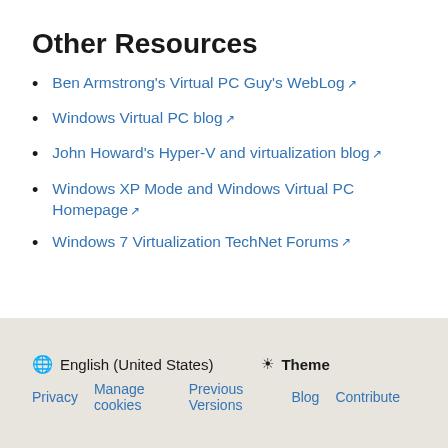Other Resources
Ben Armstrong's Virtual PC Guy's WebLog
Windows Virtual PC blog
John Howard's Hyper-V and virtualization blog
Windows XP Mode and Windows Virtual PC Homepage
Windows 7 Virtualization TechNet Forums
English (United States)  Theme